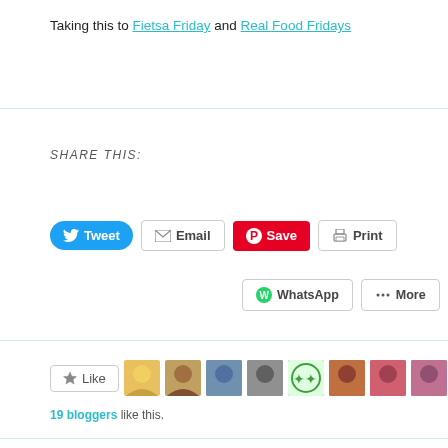Taking this to Fietsa Friday and Real Food Fridays
SHARE THIS:
[Figure (screenshot): Social sharing buttons: Tweet, Email, Save (Pinterest), Print, WhatsApp, More]
[Figure (screenshot): Like button with 19 blogger avatars]
19 bloggers like this.
RELATED
[Figure (photo): Partial photo of food items on a surface]